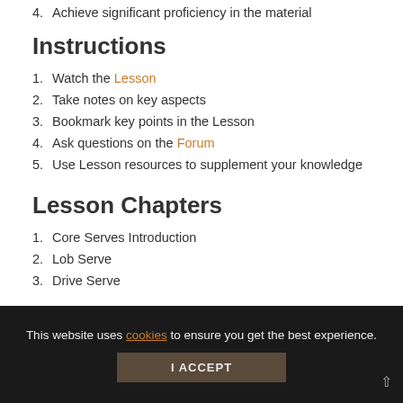4. Achieve significant proficiency in the material
Instructions
1. Watch the Lesson
2. Take notes on key aspects
3. Bookmark key points in the Lesson
4. Ask questions on the Forum
5. Use Lesson resources to supplement your knowledge
Lesson Chapters
1. Core Serves Introduction
2. Lob Serve
3. Drive Serve
This website uses cookies to ensure you get the best experience.